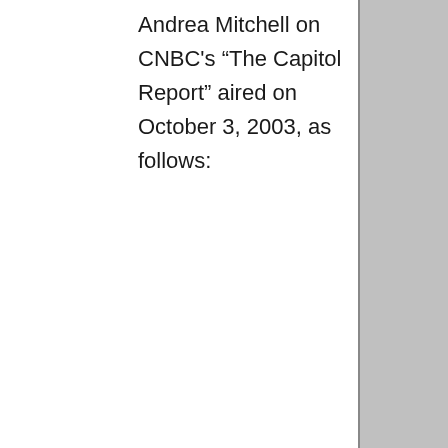Andrea Mitchell on CNBC's “The Capitol Report” aired on October 3, 2003, as follows:
Questi “Do we have any idea how widely